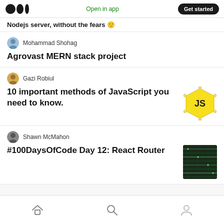Open in app  Get started
Nodejs server, without the fears 🙂
Mohammad Shohag
Agrovast MERN stack project
Gazi Robiul
10 important methods of JavaScript you need to know.
[Figure (illustration): Yellow hexagon JS badge icon]
Shawn McMahon
#100DaysOfCode Day 12: React Router
[Figure (photo): Thumbnail image with circuit/code background texture]
Home  Search  Profile